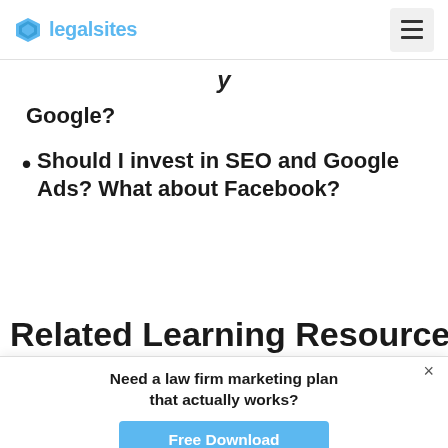legalsites
y
Google?
Should I invest in SEO and Google Ads? What about Facebook?
Related Learning Resources
Need a law firm marketing plan that actually works?
Free Download